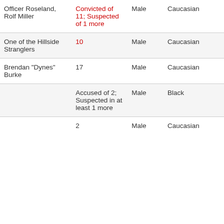| Name/Notes | Victims | Sex | Ethnicity |  |
| --- | --- | --- | --- | --- |
| Officer Roseland, Rolf Miller | Convicted of 11; Suspected of 1 more | Male | Caucasian |  |
| One of the Hillside Stranglers | 10 | Male | Caucasian |  |
| Brendan "Dynes" Burke | 17 | Male | Caucasian |  |
|  | Accused of 2; Suspected in at least 1 more | Male | Black |  |
|  | 2 | Male | Caucasian |  |